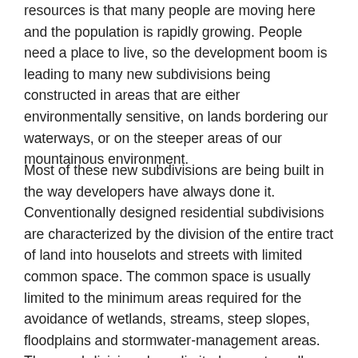resources is that many people are moving here and the population is rapidly growing. People need a place to live, so the development boom is leading to many new subdivisions being constructed in areas that are either environmentally sensitive, on lands bordering our waterways, or on the steeper areas of our mountainous environment.
Most of these new subdivisions are being built in the way developers have always done it. Conventionally designed residential subdivisions are characterized by the division of the entire tract of land into houselots and streets with limited common space. The common space is usually limited to the minimum areas required for the avoidance of wetlands, streams, steep slopes, floodplains and stormwater-management areas. These subdivisions have limited areas to walk or recreate because most of the land has been cut up and parceled out to the individual landowners for their private lots. The result is that most of the land becomes paved over, built upon or converted into lawns. Much of the landscape is also planted with